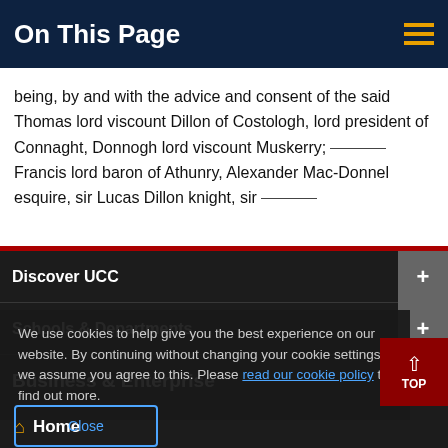On This Page
being, by and with the advice and consent of the said Thomas lord viscount Dillon of Costologh, lord president of Connaght, Donnogh lord viscount Muskerry, Francis lord baron of Athunry, Alexander Mac-Donnel esquire, sir Lucas Dillon knight, sir
Discover UCC
Schools & Departments
Business & Enterprise
We use cookies to help give you the best experience on our website. By continuing without changing your cookie settings, we assume you agree to this. Please read our cookie policy to find out more.
Alumni & Development
Close
Home